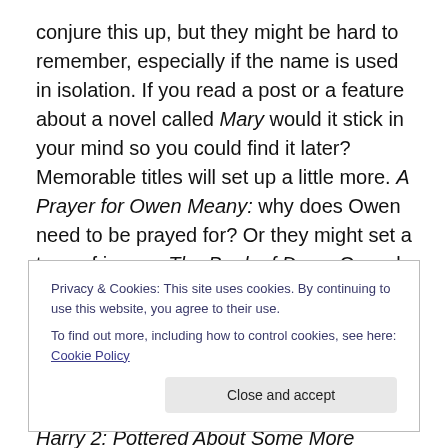conjure this up, but they might be hard to remember, especially if the name is used in isolation. If you read a post or a feature about a novel called Mary would it stick in your mind so you could find it later? Memorable titles will set up a little more. A Prayer for Owen Meany: why does Owen need to be prayed for? Or they might set a tone of irony – The Book of Dave. Or grab attention with a clever phrase – Memento Nora. The Rosie Project. Each Harry Potter book had a promise of adventure – The Philosopher's Stone, The Deathly Hallows. (Also she was writing a series. Harry 2: Pottered About Some More
Privacy & Cookies: This site uses cookies. By continuing to use this website, you agree to their use. To find out more, including how to control cookies, see here: Cookie Policy